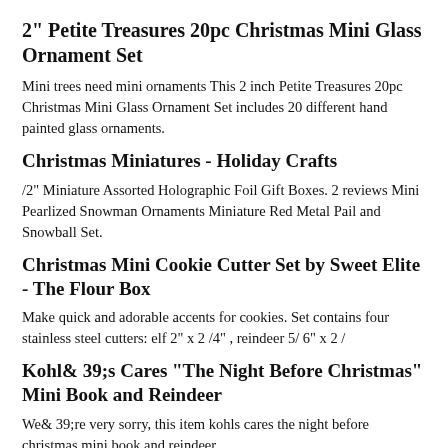2" Petite Treasures 20pc Christmas Mini Glass Ornament Set
Mini trees need mini ornaments This 2 inch Petite Treasures 20pc Christmas Mini Glass Ornament Set includes 20 different hand painted glass ornaments.
Christmas Miniatures - Holiday Crafts
/2" Miniature Assorted Holographic Foil Gift Boxes. 2 reviews Mini Pearlized Snowman Ornaments Miniature Red Metal Pail and Snowball Set.
Christmas Mini Cookie Cutter Set by Sweet Elite - The Flour Box
Make quick and adorable accents for cookies. Set contains four stainless steel cutters: elf 2" x 2 /4" , reindeer 5/ 6" x 2 /
Kohl& 39;s Cares "The Night Before Christmas" Mini Book and Reindeer
We& 39;re very sorry, this item kohls cares the night before christmas mini book and reindeer